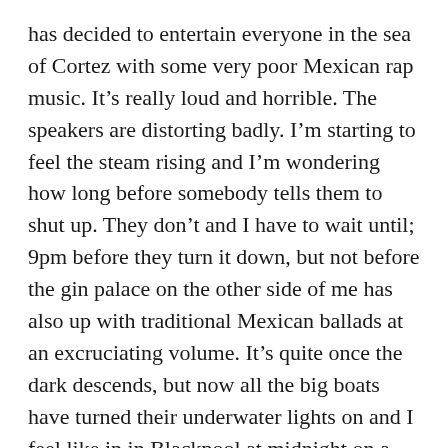has decided to entertain everyone in the sea of Cortez with some very poor Mexican rap music. It's really loud and horrible. The speakers are distorting badly. I'm starting to feel the steam rising and I'm wondering how long before somebody tells them to shut up. They don't and I have to wait until; 9pm before they turn it down, but not before the gin palace on the other side of me has also up with traditional Mexican ballads at an excruciating volume. It's quite once the dark descends, but now all the big boats have turned their underwater lights on and I feel like in in Blackpool at midnight on a Saturday.
We will leave in the morning!